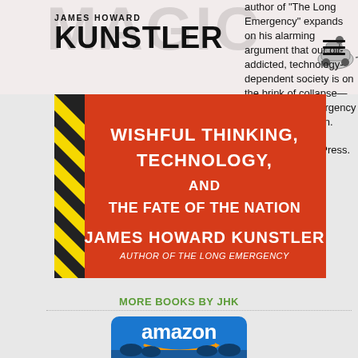JAMES HOWARD KUNSTLER
author of "The Long Emergency" expands on his alarming argument that our oil-addicted, technology-dependent society is on the brink of collapse—that the long emergency has already begun. Published by the Atlantic Monthly Press.
[Figure (illustration): Book cover for a James Howard Kunstler book featuring orange background with text: WISHFUL THINKING, TECHNOLOGY, AND THE FATE OF THE NATION. James Howard Kunstler, Author of The Long Emergency. Yellow and black hazard stripes on the left side.]
MORE BOOKS BY JHK
[Figure (logo): Amazon logo — white amazon text on blue rounded rectangle background with orange arrow smile]